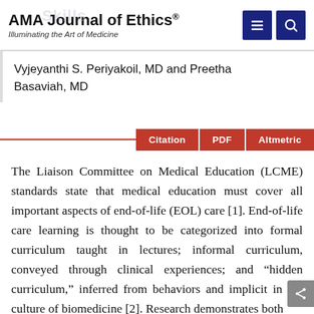AMA Journal of Ethics® | Illuminating the Art of Medicine
Vyjeyanthi S. Periyakoil, MD and Preetha Basaviah, MD
Citation | PDF | Altmetric
The Liaison Committee on Medical Education (LCME) standards state that medical education must cover all important aspects of end-of-life (EOL) care [1]. End-of-life care learning is thought to be categorized into formal curriculum taught in lectures; informal curriculum, conveyed through clinical experiences; and “hidden curriculum,” inferred from behaviors and implicit in the culture of biomedicine [2]. Research demonstrates both